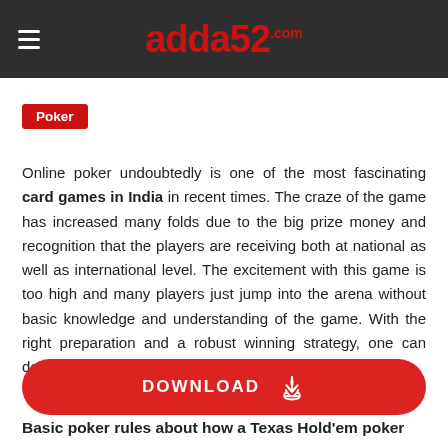adda52.com
Poker
Online poker undoubtedly is one of the most fascinating card games in India in recent times. The craze of the game has increased many folds due to the big prize money and recognition that the players are receiving both at national as well as international level. The excitement with this game is too high and many players just jump into the arena without basic knowledge and understanding of the game. With the right preparation and a robust winning strategy, one can definitely w[...] llings of the game that [...] er and win big prizes online.
[Figure (other): Red DOWNLOAD button with download icon overlay]
Basic poker rules about how a Texas Hold'em poker